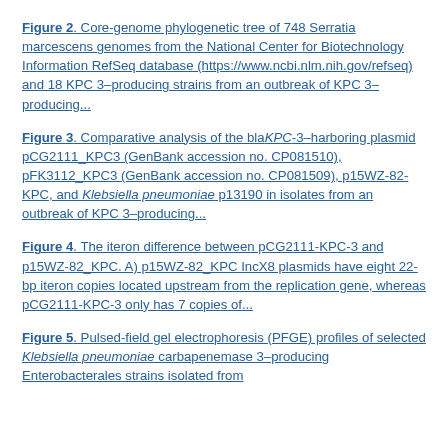Figure 2. Core-genome phylogenetic tree of 748 Serratia marcescens genomes from the National Center for Biotechnology Information RefSeq database (https://www.ncbi.nlm.nih.gov/refseq) and 18 KPC 3–producing strains from an outbreak of KPC 3–producing...
Figure 3. Comparative analysis of the blaKPC-3–harboring plasmid pCG2111_KPC3 (GenBank accession no. CP081510), pFK3112_KPC3 (GenBank accession no. CP081509), p15WZ-82-KPC, and Klebsiella pneumoniae p13190 in isolates from an outbreak of KPC 3–producing...
Figure 4. The iteron difference between pCG2111-KPC-3 and p15WZ-82_KPC. A) p15WZ-82_KPC IncX8 plasmids have eight 22-bp iteron copies located upstream from the replication gene, whereas pCG2111-KPC-3 only has 7 copies of...
Figure 5. Pulsed-field gel electrophoresis (PFGE) profiles of selected Klebsiella pneumoniae carbapenemase 3–producing Enterobacterales strains isolated from